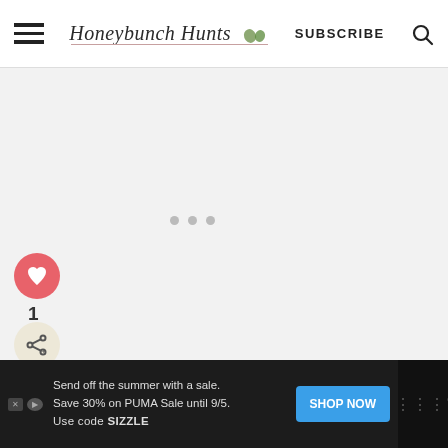Honeybunch Hunts — SUBSCRIBE
[Figure (screenshot): Main content area with light gray background, floating heart/share buttons on left, dots indicator in center]
1
[Figure (illustration): What's Next banner with homemade salsa image]
WHAT'S NEXT → Homemade Salsa for...
Send off the summer with a sale. Save 30% on PUMA Sale until 9/5. Use code SIZZLE
[Figure (other): SHOP NOW button advertisement]